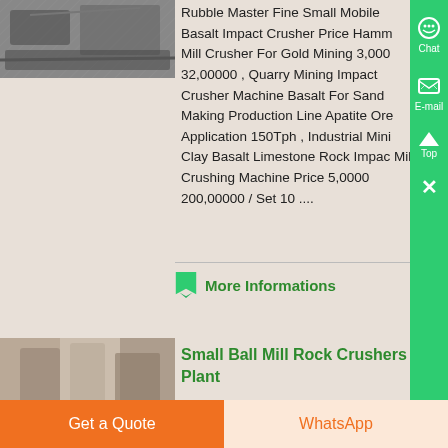[Figure (photo): Photo of mining/crushing equipment machinery in a quarry or industrial site]
Rubble Master Fine Small Mobile Basalt Impact Crusher Price Hammer Mill Crusher For Gold Mining 3,000 32,00000 , Quarry Mining Impact Crusher Machine Basalt For Sand Making Production Line Apatite Ore Application 150Tph , Industrial Mini Clay Basalt Limestone Rock Impact Mill Crushing Machine Price 5,0000 200,00000 / Set 10 ....
More Informations
[Figure (photo): Photo of ball mill rock crushing plant equipment]
Small Ball Mill Rock Crushers Plant
Get a Quote
WhatsApp